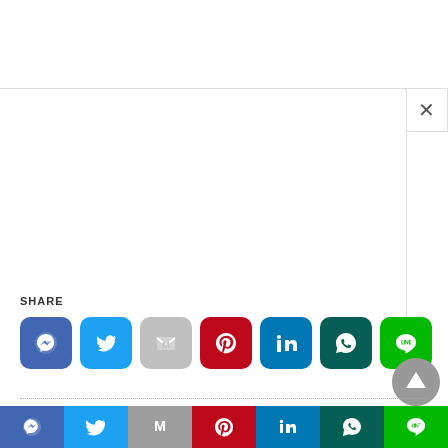[Figure (screenshot): Social share buttons UI with modal overlay showing close button (×), SHARE label with 7 social media icon buttons (Messenger, Twitter, Gmail, Pinterest, LinkedIn, WhatsApp, LINE), a dotted divider line, PUBLISHED BY label, a scroll-to-top button, and a bottom toolbar with the same 7 social media buttons in colored strips.]
SHARE
PUBLISHED BY